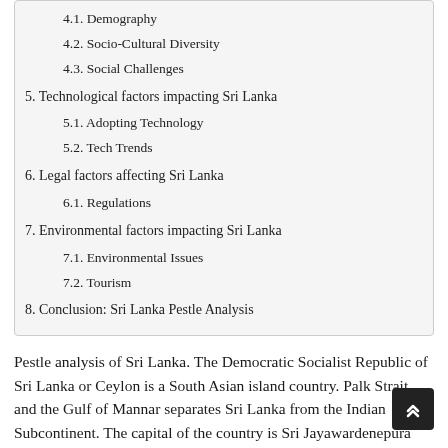4.1. Demography
4.2. Socio-Cultural Diversity
4.3. Social Challenges
5. Technological factors impacting Sri Lanka
5.1. Adopting Technology
5.2. Tech Trends
6. Legal factors affecting Sri Lanka
6.1. Regulations
7. Environmental factors impacting Sri Lanka
7.1. Environmental Issues
7.2. Tourism
8. Conclusion: Sri Lanka Pestle Analysis
Pestle analysis of Sri Lanka. The Democratic Socialist Republic of Sri Lanka or Ceylon is a South Asian island country. Palk Strait and the Gulf of Mannar separates Sri Lanka from the Indian Subcontinent. The capital of the country is Sri Jayawardenepura Kotte, whereas Colombo is the